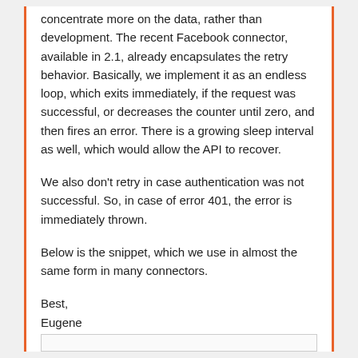concentrate more on the data, rather than development. The recent Facebook connector, available in 2.1, already encapsulates the retry behavior. Basically, we implement it as an endless loop, which exits immediately, if the request was successful, or decreases the counter until zero, and then fires an error. There is a growing sleep interval as well, which would allow the API to recover.
We also don't retry in case authentication was not successful. So, in case of error 401, the error is immediately thrown.
Below is the snippet, which we use in almost the same form in many connectors.
Best,
Eugene